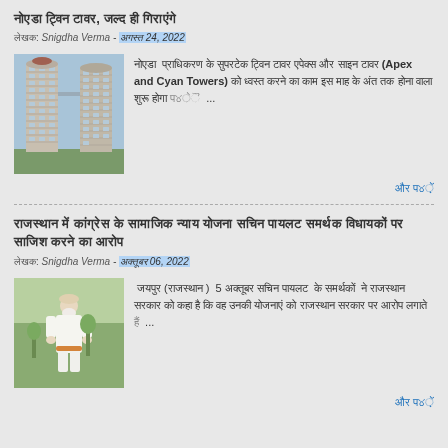नोएडा ट्विन टावर, जल्द ही गिराएंगे
लेखक: Snigdha Verma - अगस्त 24, 2022
[Figure (photo): Twin towers construction photo — Apex and Cyan Towers]
नोएडा  प्राधिकरण के सुपरटेक ट्विन टावर एपेक्स और साइन टावर (Apex and Cyan Towers) को ध्वस्त करने का काम इस माह के अंत तक होना वाला शुरू होगा ...
और पढ़ें
राजस्थान में कांग्रेस के सामाजिक न्याय योजना सचिन पायलट समर्थक विधायकों पर साजिश करने का आरोप
लेखक: Snigdha Verma - अक्तूबर 06, 2022
[Figure (photo): Person in white clothing standing outdoors]
जयपुर (राजस्थान )  5 अक्तूबर सचिन पायलट  के समर्थकों  ने राजस्थान सरकार को कहा है कि वह उनकी योजनाओं को राजस्थान सरकार पर आरोप लगाते ...
और पढ़ें